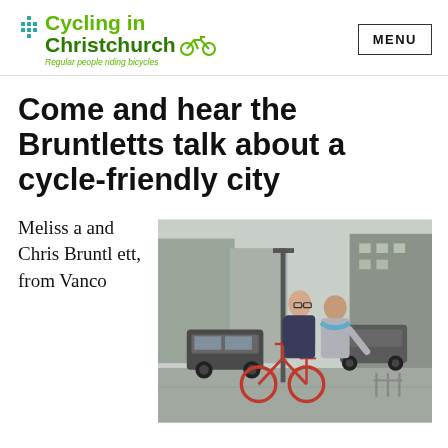Cycling in Christchurch — Regular people riding bicycles | MENU
Come and hear the Bruntletts talk about a cycle-friendly city
Melissa and Chris Bruntlett, from Vanco
[Figure (photo): Melissa and Chris Bruntlett standing with bicycles on a city street, with cars and buildings in the background]